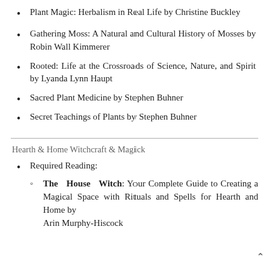Plant Magic: Herbalism in Real Life by Christine Buckley
Gathering Moss: A Natural and Cultural History of Mosses by Robin Wall Kimmerer
Rooted: Life at the Crossroads of Science, Nature, and Spirit by Lyanda Lynn Haupt
Sacred Plant Medicine by Stephen Buhner
Secret Teachings of Plants by Stephen Buhner
Hearth & Home Witchcraft & Magick
Required Reading:
The House Witch: Your Complete Guide to Creating a Magical Space with Rituals and Spells for Hearth and Home by Arin Murphy-Hiscock